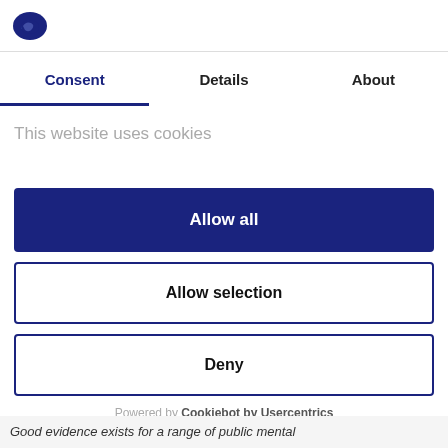[Figure (logo): Dark blue oval/shield logo (Cookiebot/Usercentrics brand icon)]
Consent	Details	About
This website uses cookies
[faded/blurred text line]
Allow all
Allow selection
Deny
Powered by Cookiebot by Usercentrics
Good evidence exists for a range of public mental